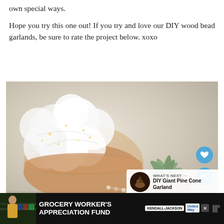own special ways.
Hope you try this one out! If you try and love our DIY wood bead garlands, be sure to rate the project below. xoxo
[Figure (photo): Photo of a bowl filled with fluffy white artificial branches and fairy lights next to a terracotta pot with an air plant, plus UI overlay buttons (heart, share) and a 'What's Next - DIY Giant Pine Cone Garland' thumbnail card]
WHAT'S NEXT → DIY Giant Pine Cone Garland
GROCERY WORKER'S APPRECIATION FUND